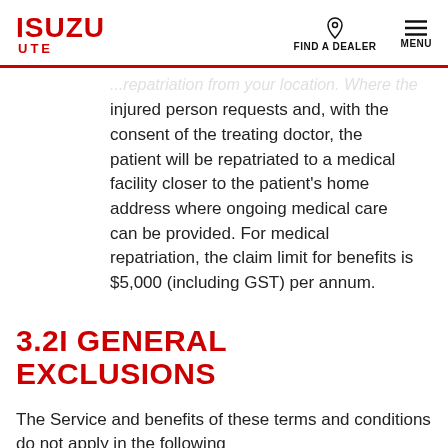ISUZU UTE | FIND A DEALER | MENU
injured person requests and, with the consent of the treating doctor, the patient will be repatriated to a medical facility closer to the patient's home address where ongoing medical care can be provided. For medical repatriation, the claim limit for benefits is $5,000 (including GST) per annum.
3.2I GENERAL EXCLUSIONS
The Service and benefits of these terms and conditions do not apply in the following